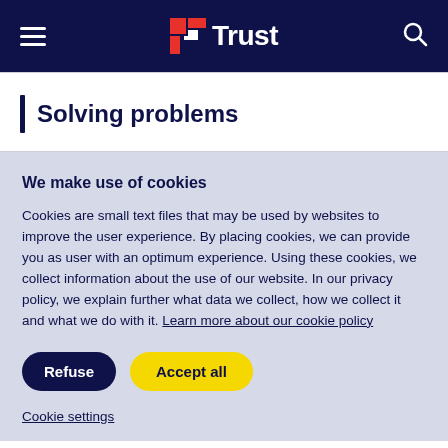Trust
Solving problems
We make use of cookies
Cookies are small text files that may be used by websites to improve the user experience. By placing cookies, we can provide you as user with an optimum experience. Using these cookies, we collect information about the use of our website. In our privacy policy, we explain further what data we collect, how we collect it and what we do with it. Learn more about our cookie policy
Refuse
Accept all
Cookie settings